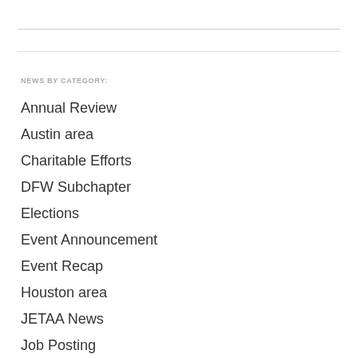NEWS BY CATEGORY:
Annual Review
Austin area
Charitable Efforts
DFW Subchapter
Elections
Event Announcement
Event Recap
Houston area
JETAA News
Job Posting